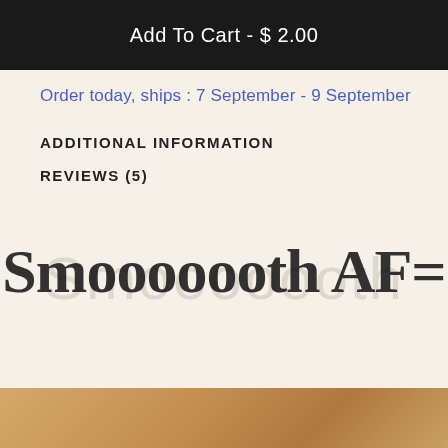Add To Cart - $ 2.00
Order today, ships : 7 September - 9 September
ADDITIONAL INFORMATION
REVIEWS (5)
[Figure (logo): Large decorative brand logo text reading 'Smooooooth AF' in bold serif/display font with partial watermark text behind it]
[Figure (photo): Bottom portion of a product photo showing warm golden/wooden tones]